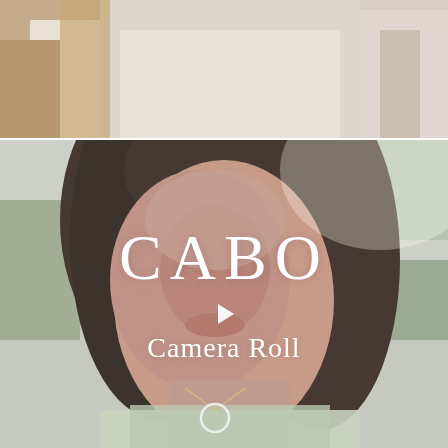[Figure (photo): Top portion showing two people in white/light clothing from shoulders down, outdoors background]
[Figure (photo): Video thumbnail of a young woman with long dark hair wearing a light-colored top and circular pendant necklace, outdoors with greenery in background. Overlaid text reads CABO and Camera Roll with a play button icon.]